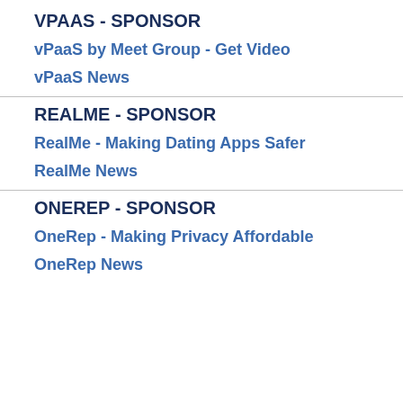VPAAS - SPONSOR
vPaaS by Meet Group - Get Video
vPaaS News
REALME - SPONSOR
RealMe - Making Dating Apps Safer
RealMe News
ONEREP - SPONSOR
OneRep - Making Privacy Affordable
OneRep News